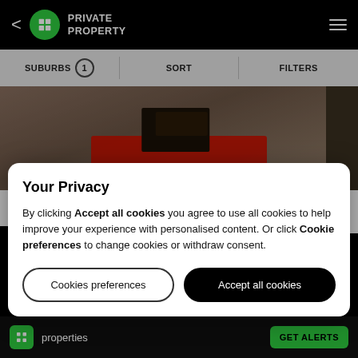< PRIVATE PROPERTY ≡
SUBURBS 1 | SORT | FILTERS
[Figure (photo): Interior room photo showing a red mat/rug with dark books or objects stacked on it, on a wooden floor]
R 4 500 DEP R 4.5K
Office
Your Privacy
By clicking Accept all cookies you agree to use all cookies to help improve your experience with personalised content. Or click Cookie preferences to change cookies or withdraw consent.
Cookies preferences | Accept all cookies
properties  GET ALERTS